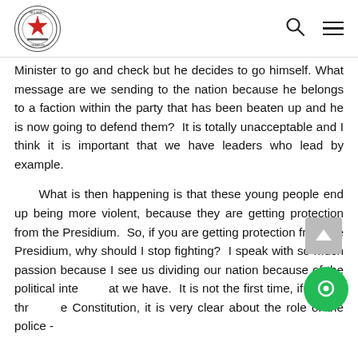Parliament of Zimbabwe logo, search icon, menu icon
Minister to go and check but he decides to go himself. What message are we sending to the nation because he belongs to a faction within the party that has been beaten up and he is now going to defend them? It is totally unacceptable and I think it is important that we have leaders who lead by example.
What is then happening is that these young people end up being more violent, because they are getting protection from the Presidium. So, if you are getting protection from the Presidium, why should I stop fighting? I speak with so much passion because I see us dividing our nation because of the political interest we have. It is not the first time, if you go through the Constitution, it is very clear about the role of the police -